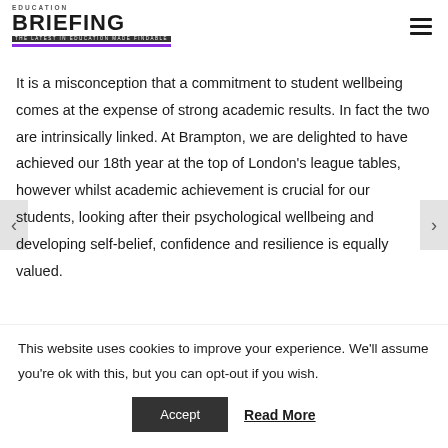EDUCATION BRIEFING — THE LATEST IN EDUCATION MADE FINDABLE
It is a misconception that a commitment to student wellbeing comes at the expense of strong academic results. In fact the two are intrinsically linked. At Brampton, we are delighted to have achieved our 18th year at the top of London's league tables, however whilst academic achievement is crucial for our students, looking after their psychological wellbeing and developing self-belief, confidence and resilience is equally valued.
This website uses cookies to improve your experience. We'll assume you're ok with this, but you can opt-out if you wish.
Accept   Read More